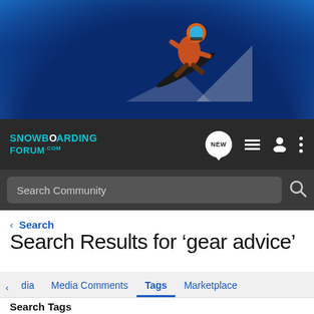[Figure (screenshot): Snowboarding Forum website header with snowboarder jumping against blue sky banner, dark navigation bar with logo, search bar, breadcrumb, page title and tabs]
SNOWBOARDING FORUM.com
Search Community
< Search
Search Results for ‘gear advice’
dia  Media Comments  Tags  Marketplace
Search Tags
gear advice  Search